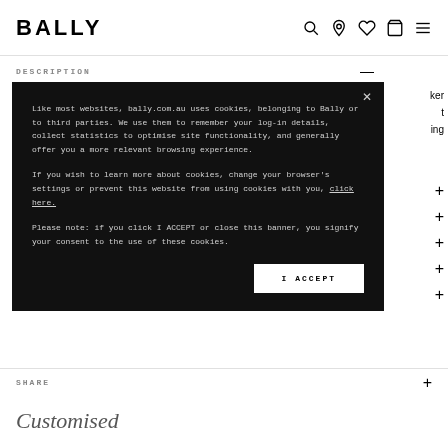BALLY
DESCRIPTION
Like most websites, bally.com.au uses cookies, belonging to Bally or to third parties. We use them to remember your log-in details, collect statistics to optimise site functionality, and generally offer you a more relevant browsing experience.

If you wish to learn more about cookies, change your browser's settings or prevent this website from using cookies with you, click here.

Please note: if you click I ACCEPT or close this banner, you signify your consent to the use of these cookies.
I ACCEPT
SHARE